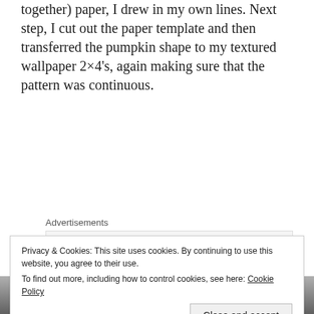together) paper, I drew in my own lines. Next step, I cut out the paper template and then transferred the pumpkin shape to my textured wallpaper 2×4's, again making sure that the pattern was continuous.
Advertisements
[Figure (other): Advertisement banner showing bold text 'Getting your team on the']
After cutting the individual pieces out, I sanded random dents in the edges to make them more rounded and textured. See?
Privacy & Cookies: This site uses cookies. By continuing to use this website, you agree to their use.
To find out more, including how to control cookies, see here: Cookie Policy
Close and accept
[Figure (photo): Partial photo at bottom of page showing a textured or crafted surface in grayscale]